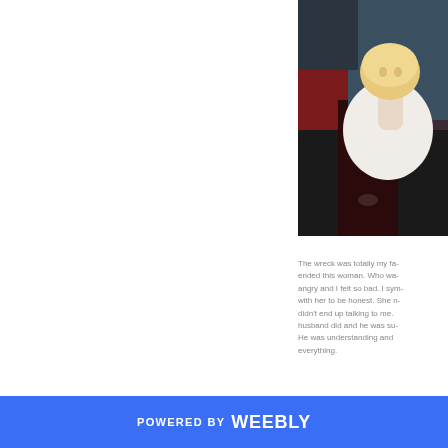[Figure (photo): A person with blonde hair wearing a white top, seated against a dark background with red and dark tones.]
The wreck was totally my fa- ended this woman. Who wa- angry and I felt so bad. I sym- with her to be honest. She n- didn't end up talking to me. husband did and he was su- He was understanding and everything.
POWERED BY weebly